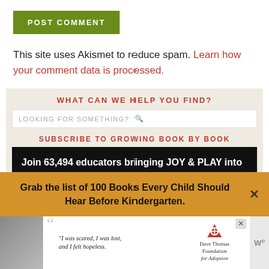POST COMMENT
This site uses Akismet to reduce spam. Learn how your comment data is processed.
WHAT CAN WE HELP YOU FIND?
LOOKING FOR SOMETHING?
SUBSCRIBE TO GROWING BOOK BY BOOK
Join 63,494 educators bringing JOY & PLAY into children's lives through books.
Grab the list of 100 Books Every Child Should Hear Before Kindergarten.
[Figure (screenshot): Advertisement banner with a woman's photo, quote text 'I was scared, I was lost, and I felt hopeless.' and Dave Thomas Foundation for Adoption logo]